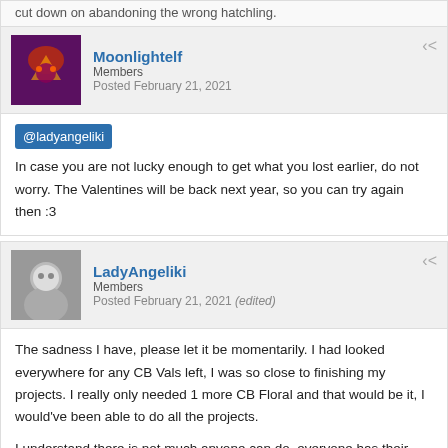cut down on abandoning the wrong hatchling.
Moonlightelf
Members
Posted February 21, 2021
@ladyangeliki
In case you are not lucky enough to get what you lost earlier, do not worry. The Valentines will be back next year, so you can try again then :3
LadyAngeliki
Members
Posted February 21, 2021 (edited)
The sadness I have, please let it be momentarily. I had looked everywhere for any CB Vals left, I was so close to finishing my projects. I really only needed 1 more CB Floral and that would be it, I would've been able to do all the projects.

I understand there is not much anyone can do, everyone has their limit for event dragons now and the CB Vals are no longer being released. I need to wait, its all I can do.

Hopefully the hatchling I released went to a good home at least. 🐉 A home